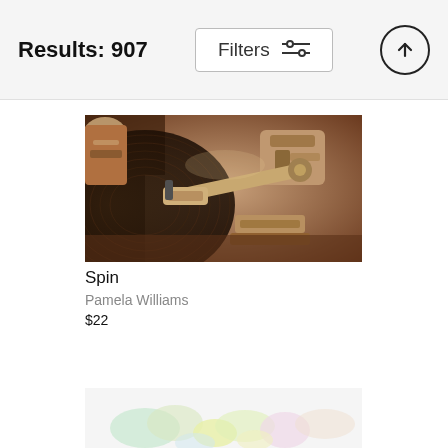Results: 907
[Figure (photo): Sepia-toned close-up photograph of a vintage vinyl record turntable showing the tonearm, cartridge, and spinning record grooves]
Spin
Pamela Williams
$22
[Figure (photo): Partial view of a second artwork at the bottom of the page showing soft pastel colored abstract shapes on white background]